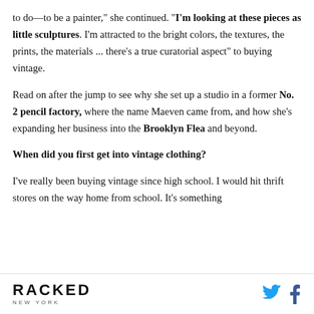to do—to be a painter," she continued. "I'm looking at these pieces as little sculptures. I'm attracted to the bright colors, the textures, the prints, the materials ... there's a true curatorial aspect" to buying vintage.
Read on after the jump to see why she set up a studio in a former No. 2 pencil factory, where the name Maeven came from, and how she's expanding her business into the Brooklyn Flea and beyond.
When did you first get into vintage clothing?
I've really been buying vintage since high school. I would hit thrift stores on the way home from school. It's something
RACKED NEW YORK